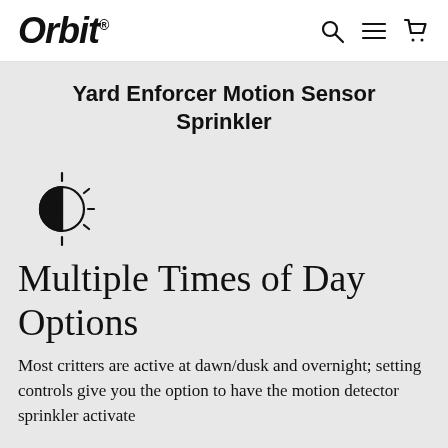Orbit®
Yard Enforcer Motion Sensor Sprinkler
[Figure (illustration): Dawn/dusk icon — a circle with a vertical diameter line and short radiating lines suggesting a sun or day/night symbol]
Multiple Times of Day Options
Most critters are active at dawn/dusk and overnight; setting controls give you the option to have the motion detector sprinkler activate